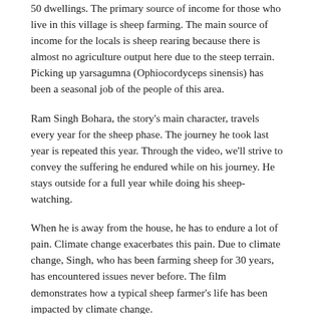50 dwellings. The primary source of income for those who live in this village is sheep farming. The main source of income for the locals is sheep rearing because there is almost no agriculture output here due to the steep terrain. Picking up yarsagumna (Ophiocordyceps sinensis) has been a seasonal job of the people of this area.
Ram Singh Bohara, the story's main character, travels every year for the sheep phase. The journey he took last year is repeated this year. Through the video, we'll strive to convey the suffering he endured while on his journey. He stays outside for a full year while doing his sheep-watching.
When he is away from the house, he has to endure a lot of pain. Climate change exacerbates this pain. Due to climate change, Singh, who has been farming sheep for 30 years, has encountered issues never before. The film demonstrates how a typical sheep farmer's life has been impacted by climate change.
Our protagonist begins to notice some previously unseen wild plants while sheep-gazing and notices certain plants that are flowering early. When sheep consume those unidentified plants, they also perish in the process.